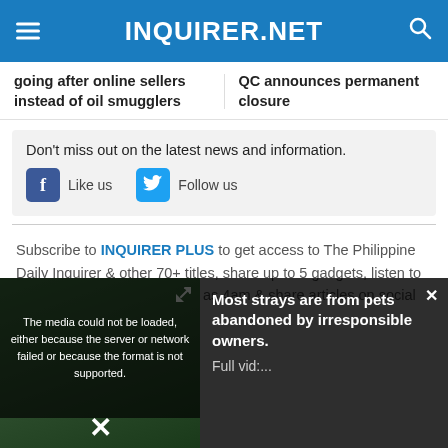INQUIRER.NET
going after online sellers instead of oil smugglers
QC announces permanent closure
Don't miss out on the latest news and information.
Like us
Follow us
Subscribe to INQUIRER PLUS to get access to The Philippine Daily Inquirer & other 70+ titles, share up to 5 gadgets, listen to the news, download as early as 4am & share articles on social
[Figure (screenshot): Video overlay showing a person in green shirt. Media error message reads: 'The media could not be loaded, either because the server or network failed or because the format is not supported.' Video panel shows headline 'Most strays are from pets abandoned by irresponsible owners. Full vid:...' with a close X button at bottom.]